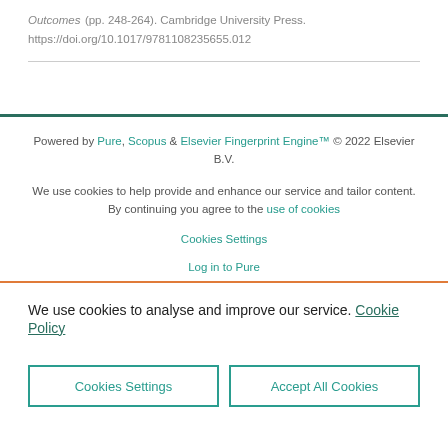Outcomes (pp. 248-264). Cambridge University Press. https://doi.org/10.1017/9781108235655.012
Powered by Pure, Scopus & Elsevier Fingerprint Engine™ © 2022 Elsevier B.V.
We use cookies to help provide and enhance our service and tailor content. By continuing you agree to the use of cookies
Cookies Settings
Log in to Pure
We use cookies to analyse and improve our service. Cookie Policy
Cookies Settings
Accept All Cookies